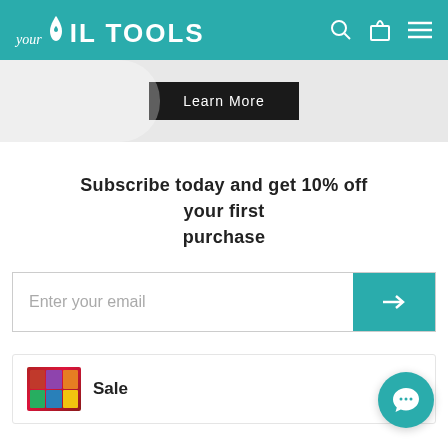your Oil TOOLS
[Figure (screenshot): Banner section with Learn More button on light grey background]
Subscribe today and get 10% off your first purchase
Enter your email
Sale
[Figure (other): Teal circular chat support button in bottom right corner]